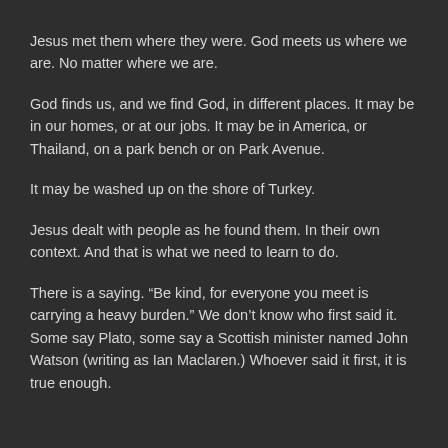Jesus met them where they were. God meets us where we are. No matter where we are.
God finds us, and we find God, in different places. It may be in our homes, or at our jobs. It may be in America, or Thailand, on a park bench or on Park Avenue.
It may be washed up on the shore of Turkey.
Jesus dealt with people as he found them. In their own context. And that is what we need to learn to do.
There is a saying. “Be kind, for everyone you meet is carrying a heavy burden.” We don’t know who first said it. Some say Plato, some say a Scottish minister named John Watson (writing as Ian Maclaren.) Whoever said it first, it is true enough.